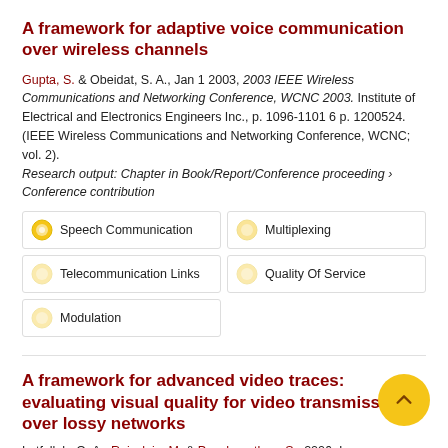A framework for adaptive voice communication over wireless channels
Gupta, S. & Obeidat, S. A., Jan 1 2003, 2003 IEEE Wireless Communications and Networking Conference, WCNC 2003. Institute of Electrical and Electronics Engineers Inc., p. 1096-1101 6 p. 1200524. (IEEE Wireless Communications and Networking Conference, WCNC; vol. 2).
Research output: Chapter in Book/Report/Conference proceeding › Conference contribution
Speech Communication
Multiplexing
Telecommunication Links
Quality Of Service
Modulation
A framework for advanced video traces: evaluating visual quality for video transmission over lossy networks
Lotfallah, O. A., Reisslein, M. & Panchanathan, S., 2006, In: